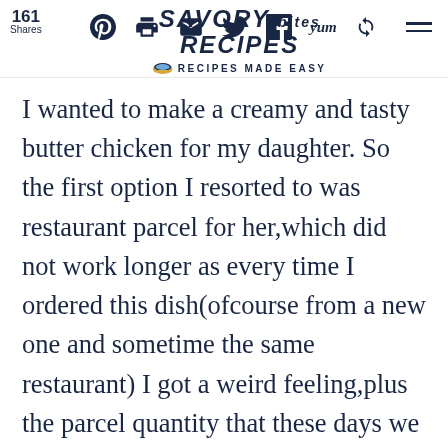161 Shares — Savory Bites Recipes — Recipes Made Easy
I wanted to make a creamy and tasty butter chicken for my daughter. So the first option I resorted to was restaurant parcel for her,which did not work longer as every time I ordered this dish(ofcourse from a new one and sometime the same restaurant) I got a weird feeling,plus the parcel quantity that these days we get in take-out order is very less so its hardly sufficient for 1 person.